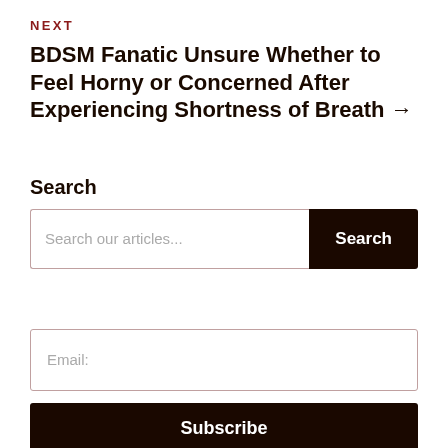NEXT
BDSM Fanatic Unsure Whether to Feel Horny or Concerned After Experiencing Shortness of Breath →
Search
Search our articles...
Email:
Subscribe